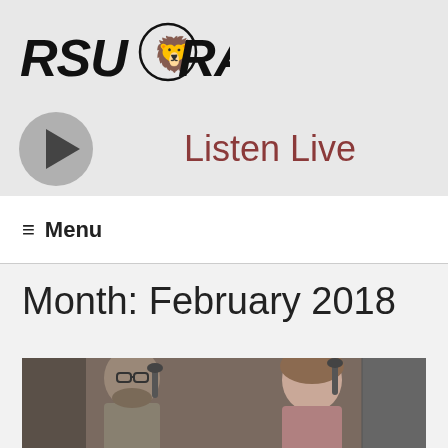[Figure (logo): RSU Radio logo with italic bold text and lion head mascot graphic]
[Figure (infographic): Gray circular play button on the left and 'Listen Live' text in dark red on the right]
≡ Menu
Month: February 2018
[Figure (photo): Photo of two people in a radio studio, a man with glasses and beard on the left and a woman smiling on the right]